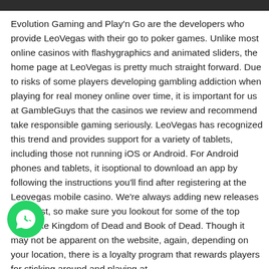Evolution Gaming and Play'n Go are the developers who provide LeoVegas with their go to poker games. Unlike most online casinos with flashygraphics and animated sliders, the home page at LeoVegas is pretty much straight forward. Due to risks of some players developing gambling addiction when playing for real money online over time, it is important for us at GambleGuys that the casinos we review and recommend take responsible gaming seriously. LeoVegas has recognized this trend and provides support for a variety of tablets, including those not running iOS or Android. For Android phones and tablets, it isoptional to download an app by following the instructions you'll find after registering at the Leovegas mobile casino. We're always adding new releases to the list, so make sure you lookout for some of the top titles, like Kingdom of Dead and Book of Dead. Though it may not be apparent on the website, again, depending on your location, there is a loyalty program that rewards players for sticking around and playing at
[Figure (other): WhatsApp chat button - green circular button with WhatsApp phone/chat icon]